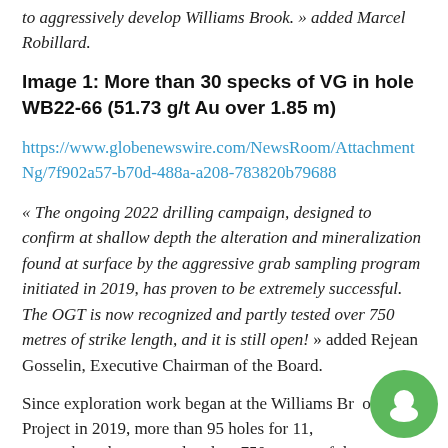to aggressively develop Williams Brook. » added Marcel Robillard.
Image 1: More than 30 specks of VG in hole WB22-66 (51.73 g/t Au over 1.85 m)
https://www.globenewswire.com/NewsRoom/AttachmentNg/7f902a57-b70d-488a-a208-783820b79688
« The ongoing 2022 drilling campaign, designed to confirm at shallow depth the alteration and mineralization found at surface by the aggressive grab sampling program initiated in 2019, has proven to be extremely successful. The OGT is now recognized and partly tested over 750 metres of strike length, and it is still open! » added Rejean Gosselin, Executive Chairman of the Board.
Since exploration work began at the Williams Brook Gold Project in 2019, more than 95 holes for 11, metres have been completed on 750 metres of the